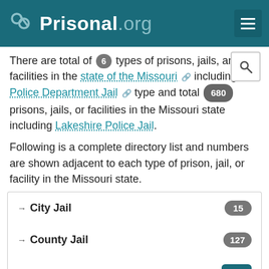Prisonal.org
There are total of 6 types of prisons, jails, and facilities in the state of the Missouri including Police Department Jail type and total 680 prisons, jails, or facilities in the Missouri state including Lakeshire Police Jail.
Following is a complete directory list and numbers are shown adjacent to each type of prison, jail, or facility in the Missouri state.
City Jail — 15
County Jail — 127
Department Of Corrections
Federal Bureau of Prisons (BOP)